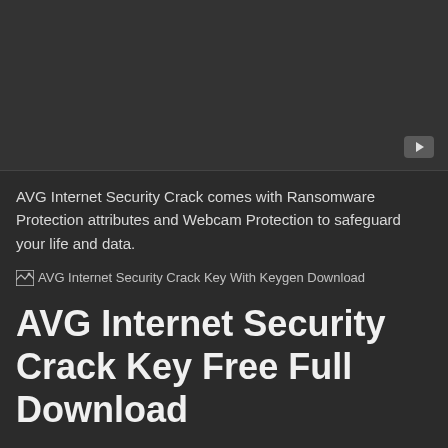[Figure (screenshot): Dark video player placeholder with a play button icon in the bottom-right corner]
AVG Internet Security Crack comes with Ransomware Protection attributes and Webcam Protection to safeguard your life and data.
[Figure (illustration): Broken image placeholder with alt text: AVG Internet Security Crack Key With Keygen Download]
AVG Internet Security Crack Key Free Full Download
It upgrades your safety mechanically and uses advanced Artificial Intelligence (AI) to detect the threats that...